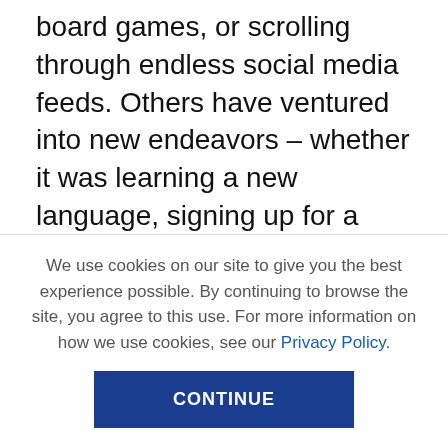board games, or scrolling through endless social media feeds. Others have ventured into new endeavors – whether it was learning a new language, signing up for a virtual workout program, or developing a new line of business.
We each approached this year differently, but it's the consistency of our actions that will make a difference in the years to come.
So, what are the best habits you've adopted in 2020? I
We use cookies on our site to give you the best experience possible. By continuing to browse the site, you agree to this use. For more information on how we use cookies, see our Privacy Policy.
CONTINUE